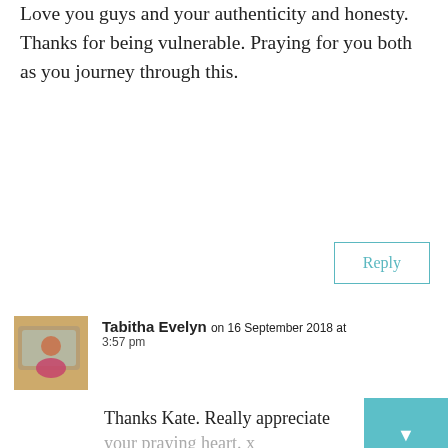Love you guys and your authenticity and honesty. Thanks for being vulnerable. Praying for you both as you journey through this.
Reply
Tabitha Evelyn on 16 September 2018 at 3:57 pm
Thanks Kate. Really appreciate your praying heart. x
Subscribe to join the adventure
Your email address..
Subscribe